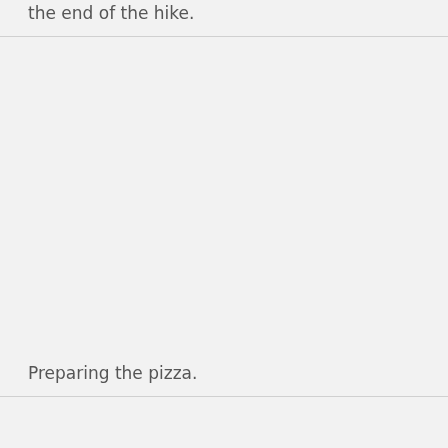the end of the hike.
Preparing the pizza.